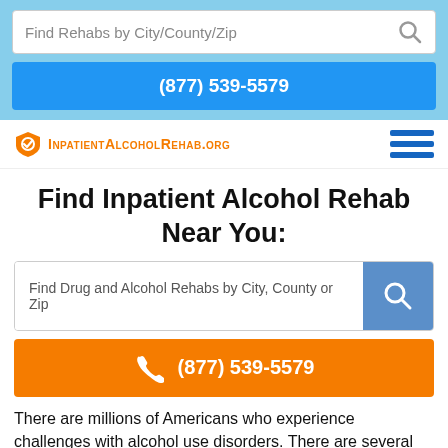Find Rehabs by City/County/Zip
(877) 539-5579
[Figure (logo): InpatientAlcoholRehab.org logo with orange shield icon]
Find Inpatient Alcohol Rehab Near You:
[Figure (screenshot): Search box with placeholder: Find Drug and Alcohol Rehabs by City, County or Zip, and blue search button]
[Figure (infographic): Orange call button with phone icon and number (877) 539-5579]
There are millions of Americans who experience challenges with alcohol use disorders. There are several